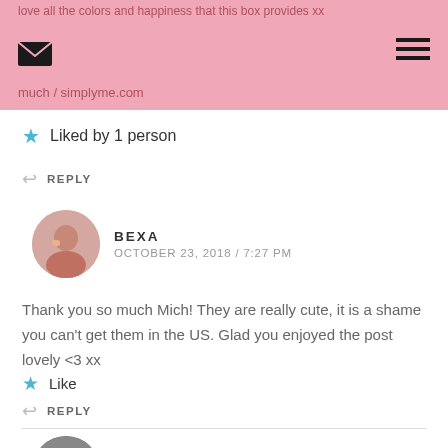love all the colors and happiness that this box provides  xx much / simplyme.com
Liked by 1 person
REPLY
BEXA
OCTOBER 23, 2018 / 7:27 PM
Thank you so much Mich! They are really cute, it is a shame you can't get them in the US. Glad you enjoyed the post lovely <3 xx
Like
REPLY
SAMANTHA
OCTOBER 23, 2018 / 7:44 PM